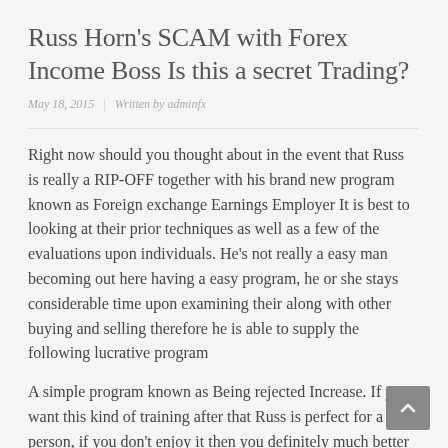Russ Horn's SCAM with Forex Income Boss Is this a secret Trading?
May 18, 2015 | Written by adminfx
Right now should you thought about in the event that Russ is really a RIP-OFF together with his brand new program known as Foreign exchange Earnings Employer It is best to looking at their prior techniques as well as a few of the evaluations upon individuals. He's not really a easy man becoming out here having a easy program, he or she stays considerable time upon examining their along with other buying and selling therefore he is able to supply the following lucrative program
A simple program known as Being rejected Increase. If you want this kind of training after that Russ is perfect for a person, if you don't enjoy it then you definitely much better depart this as well as proceed aside.